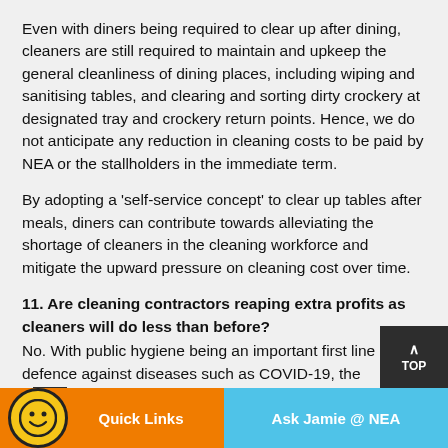Even with diners being required to clear up after dining, cleaners are still required to maintain and upkeep the general cleanliness of dining places, including wiping and sanitising tables, and clearing and sorting dirty crockery at designated tray and crockery return points. Hence, we do not anticipate any reduction in cleaning costs to be paid by NEA or the stallholders in the immediate term.
By adopting a 'self-service concept' to clear up tables after meals, diners can contribute towards alleviating the shortage of cleaners in the cleaning workforce and mitigate the upward pressure on cleaning cost over time.
11. Are cleaning contractors reaping extra profits as cleaners will do less than before?
No. With public hygiene being an important first line of defence against diseases such as COVID-19, the workload for table cleaning service providers has increased